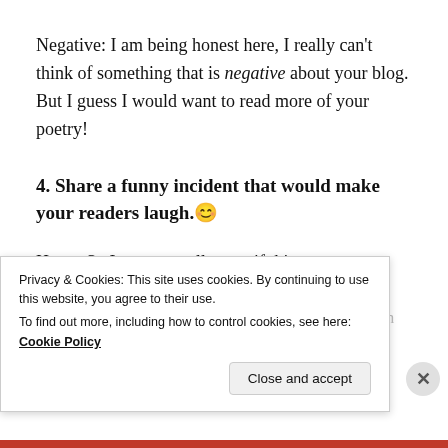Negative: I am being honest here, I really can't think of something that is negative about your blog. But I guess I would want to read more of your poetry!
4. Share a funny incident that would make your readers laugh. 😊
Hmm. So I am not really sure if this counts as funny, but do you... I think of this one... I always laugh...
Privacy & Cookies: This site uses cookies. By continuing to use this website, you agree to their use.
To find out more, including how to control cookies, see here: Cookie Policy